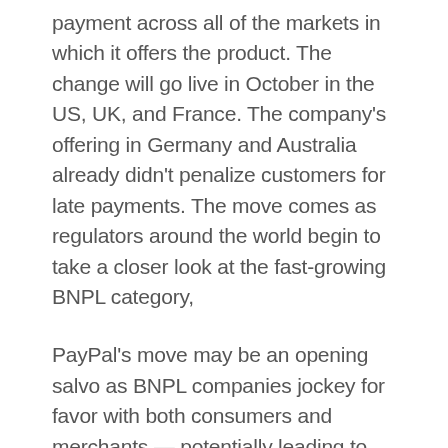payment across all of the markets in which it offers the product. The change will go live in October in the US, UK, and France. The company’s offering in Germany and Australia already didn’t penalize customers for late payments. The move comes as regulators around the world begin to take a closer look at the fast-growing BNPL category,
PayPal’s move may be an opening salvo as BNPL companies jockey for favor with both consumers and merchants — potentially leading to lower prices and margin compression.